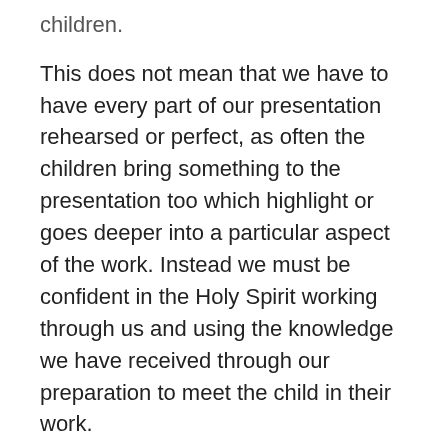children.
This does not mean that we have to have every part of our presentation rehearsed or perfect, as often the children bring something to the presentation too which highlight or goes deeper into a particular aspect of the work. Instead we must be confident in the Holy Spirit working through us and using the knowledge we have received through our preparation to meet the child in their work.
The core texts for Level 1 (children from 3-6 years) are: